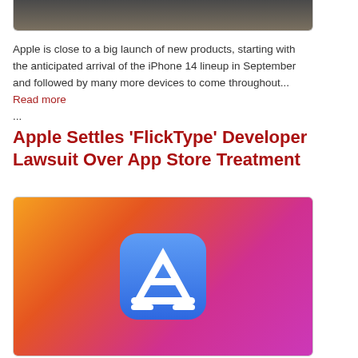[Figure (photo): Top portion of a photo showing a notebook and pen on a desk, cropped at the top of the page]
Apple is close to a big launch of new products, starting with the anticipated arrival of the iPhone 14 lineup in September and followed by many more devices to come throughout... Read more ...
Apple Settles 'FlickType' Developer Lawsuit Over App Store Treatment
[Figure (photo): App Store icon (blue rounded square with white A-frame logo) on an orange-to-pink gradient background]